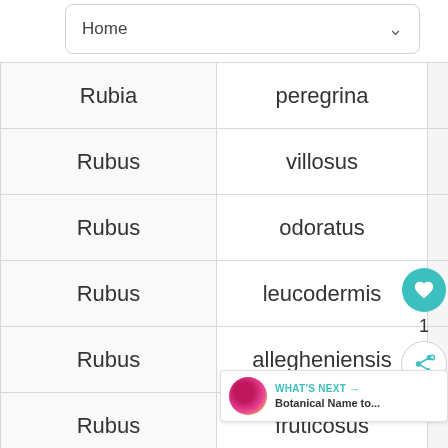Home
| Genus | Species |  |
| --- | --- | --- |
| Rubia | peregrina |  |
| Rubus | villosus |  |
| Rubus | odoratus |  |
| Rubus | leucodermis |  |
| Rubus | allegheniensis |  |
| Rubus | fruticosus |  |
1
WHAT'S NEXT → Botanical Name to...